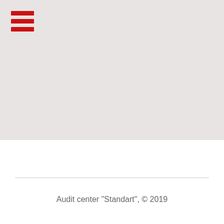[Figure (logo): Red hamburger menu icon with three horizontal red bars on a light gray background]
Audit center "Standart", © 2019